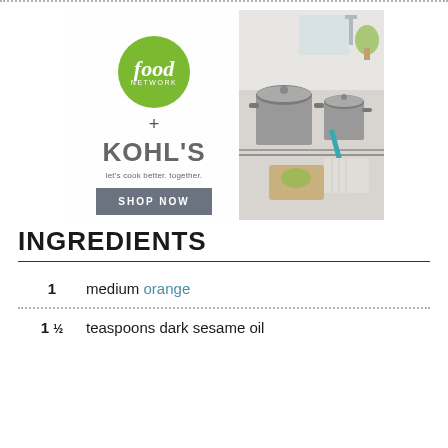[Figure (advertisement): Food Network + Kohl's advertisement showing kitchen cookware with a 'Shop Now' button and tagline 'let's cook better. together.']
INGREDIENTS
1 medium orange
1½ teaspoons dark sesame oil